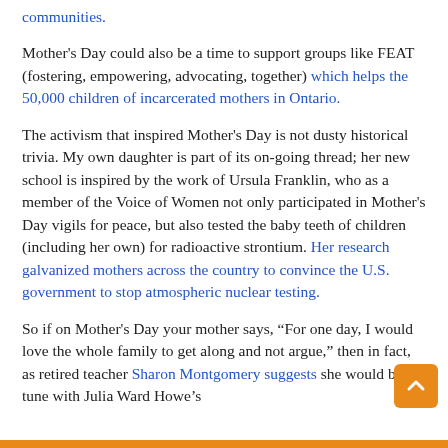communities.
Mother's Day could also be a time to support groups like FEAT (fostering, empowering, advocating, together) which helps the 50,000 children of incarcerated mothers in Ontario.
The activism that inspired Mother's Day is not dusty historical trivia. My own daughter is part of its on-going thread; her new school is inspired by the work of Ursula Franklin, who as a member of the Voice of Women not only participated in Mother's Day vigils for peace, but also tested the baby teeth of children (including her own) for radioactive strontium. Her research galvanized mothers across the country to convince the U.S. government to stop atmospheric nuclear testing.
So if on Mother's Day your mother says, “For one day, I would love the whole family to get along and not argue,” then in fact, as retired teacher Sharon Montgomery suggests she would be in tune with Julia Ward Howe's